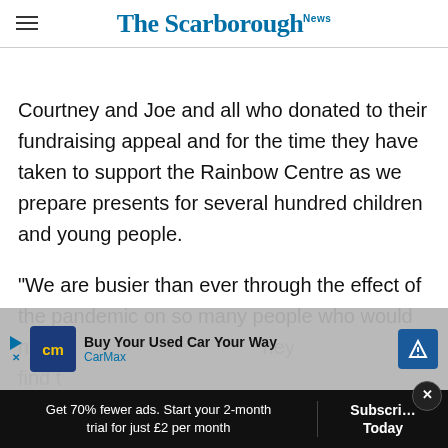The Scarborough News
Courtney and Joe and all who donated to their fundraising appeal and for the time they have taken to support the Rainbow Centre as we prepare presents for several hundred children and young people.
“We are busier than ever through the effect of the pandemic on so many people who would never [obscured] they find t[obscured]
[Figure (other): CarMax advertisement banner: Buy Your Used Car Your Way, CarMax]
Get 70% fewer ads. Start your 2-month trial for just £2 per month
Subscribe Today